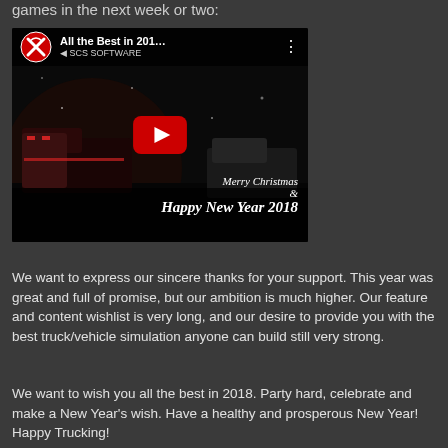games in the next week or two:
[Figure (screenshot): YouTube video thumbnail for 'All the Best in 201...' by SCS Software, showing trucks with Christmas decorations. Text reads 'Merry Christmas & Happy New Year 2018'. Red play button in center.]
We want to express our sincere thanks for your support. This year was great and full of promise, but our ambition is much higher. Our feature and content wishlist is very long, and our desire to provide you with the best truck/vehicle simulation anyone can build still very strong.
We want to wish you all the best in 2018. Party hard, celebrate and make a New Year's wish. Have a healthy and prosperous New Year! Happy Trucking!